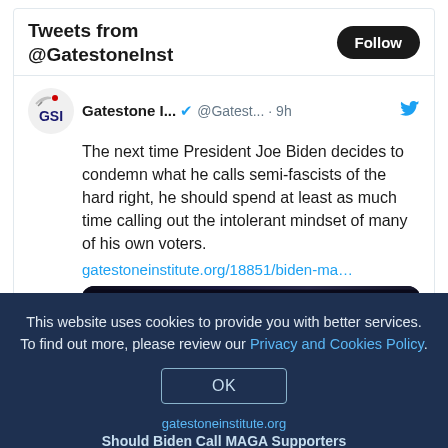Tweets from @GatestoneInst
The next time President Joe Biden decides to condemn what he calls semi-fascists of the hard right, he should spend at least as much time calling out the intolerant mindset of many of his own voters.
gatestoneinstitute.org/18851/biden-ma…
[Figure (photo): Photo of President Joe Biden speaking at a podium, dark background with warm light source visible on the right side]
This website uses cookies to provide you with better services. To find out more, please review our Privacy and Cookies Policy.
OK
gatestoneinstitute.org
Should Biden Call MAGA Supporters